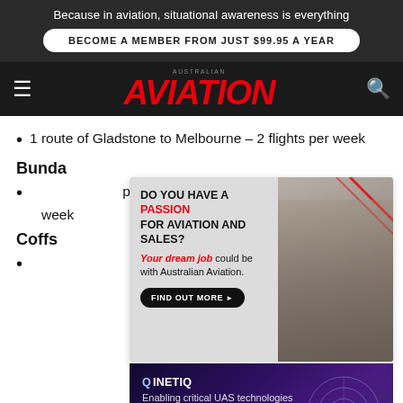Because in aviation, situational awareness is everything
BECOME A MEMBER FROM JUST $99.95 A YEAR
AUSTRALIAN AVIATION
1 route of Gladstone to Melbourne – 2 flights per week
Bunda
per week
Coffs
[Figure (infographic): Australian Aviation advertisement: DO YOU HAVE A PASSION FOR AVIATION AND SALES? Your dream job could be with Australian Aviation. FIND OUT MORE button. Photo of two businesspeople. Australian Aviation logo top right.]
[Figure (infographic): QinetiQ advertisement: Enabling critical UAS technologies. Purple/dark background with radar imagery.]
2